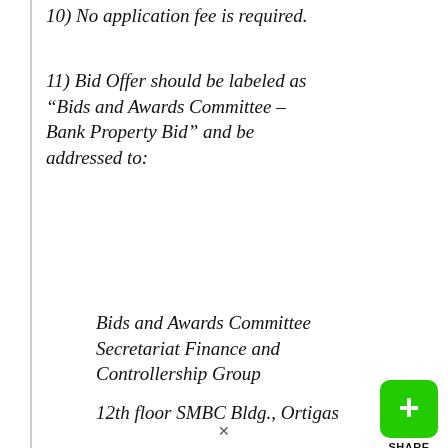10) No application fee is required.
11) Bid Offer should be labeled as “Bids and Awards Committee – Bank Property Bid” and be addressed to:
Bids and Awards Committee Secretariat Finance and Controllership Group
12th floor SMBC Bldg., Ortigas